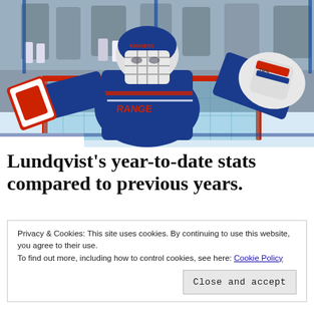[Figure (photo): Hockey goalie in New York Rangers blue uniform with helmet/mask labeled RANGERS, arms spread wide in front of a red goal net, with spectators visible behind glass in the background.]
Lundqvist's year-to-date stats compared to previous years.
Privacy & Cookies: This site uses cookies. By continuing to use this website, you agree to their use.
To find out more, including how to control cookies, see here: Cookie Policy
Close and accept